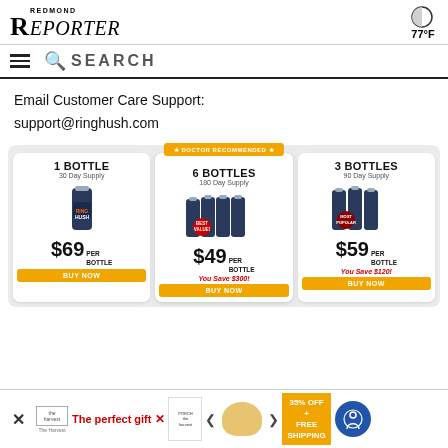REDMOND REPORTER — 77°F
Email Customer Care Support: support@ringhush.com
[Figure (infographic): Product pricing cards for RingHush supplement: 1 Bottle (30 Day Supply) $69 per bottle; 6 Bottles (180 Day Supply, Doctor Recommended, Best Value) $49 per bottle, You Save $300!; 3 Bottles (90 Day Supply, Most Popular) $59 per bottle, You Save $120!]
[Figure (infographic): Bottom advertisement banner: The perfect gift, 35% OFF + FREE SHIPPING, with navigation arrows and accessibility icon]